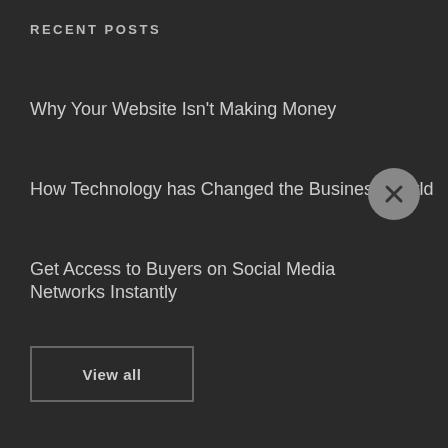RECENT POSTS
Why Your Website Isn't Making Money
How Technology has Changed the Business World
Get Access to Buyers on Social Media Networks Instantly
View all